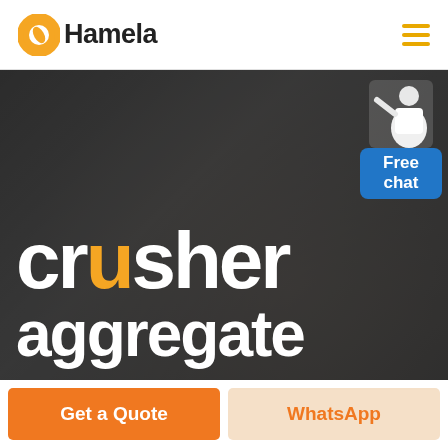[Figure (logo): Hamela logo: orange circular icon with white leaf/seed shape and bold text 'Hamela']
[Figure (screenshot): Website screenshot showing 'crusher aggregate' hero text over a dark background with a person in the image, and a Free chat badge in the upper right]
crusher aggregate
Free chat
Get a Quote
WhatsApp